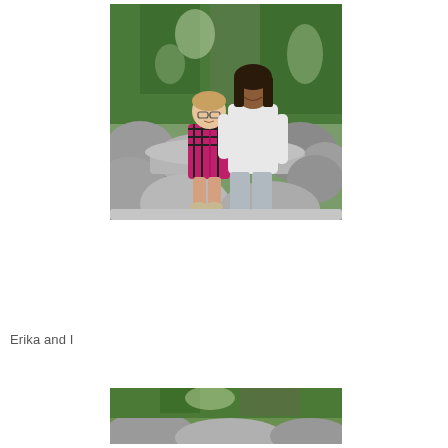[Figure (photo): Two girls sitting on rocks in a forest. The younger girl wears glasses and a pink and black plaid hoodie. The older girl wears a white long-sleeve top and grey pants. They are surrounded by large grey boulders and green conifer trees in the background.]
Erika and I
[Figure (photo): Partial photo at bottom of page showing rocks and green trees/foliage, similar forest setting to the top photo.]